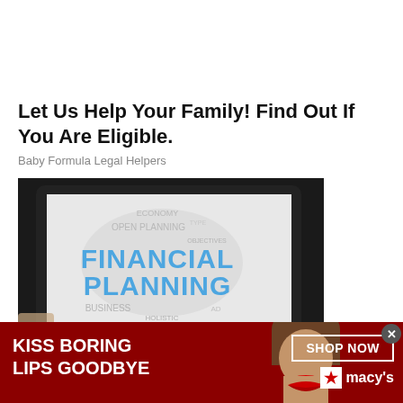Let Us Help Your Family! Find Out If You Are Eligible.
Baby Formula Legal Helpers
[Figure (photo): A hand holding a tablet device displaying a 'FINANCIAL PLANNING' word cloud graphic with related terms like economy, open planning, business, holistic, objectives]
[Figure (photo): Macy's advertisement banner: 'KISS BORING LIPS GOODBYE' with a woman with red lipstick, SHOP NOW button, and Macy's star logo on dark red background]